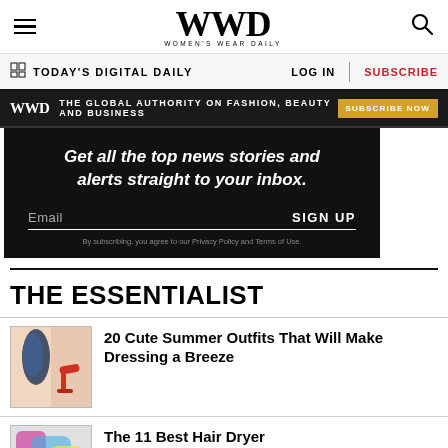[Figure (logo): WWD Women's Wear Daily logo with hamburger menu and search icon]
TODAY'S DIGITAL DAILY  LOG IN  SUBSCRIBE
[Figure (infographic): WWD ad banner: THE GLOBAL AUTHORITY ON FASHION, BEAUTY AND BUSINESS — SUBSCRIBE NOW]
[Figure (infographic): Newsletter signup box with text: Get all the top news stories and alerts straight to your inbox. Email SIGN UP. By subscribing, you agree to our Privacy Policy and Terms of Use.]
THE ESSENTIALIST
[Figure (photo): Thumbnail image of summer outfit with colorful dress and red heeled sandals]
20 Cute Summer Outfits That Will Make Dressing a Breeze
[Figure (photo): Thumbnail image of hair dryer product]
The 11 Best Hair Dryer